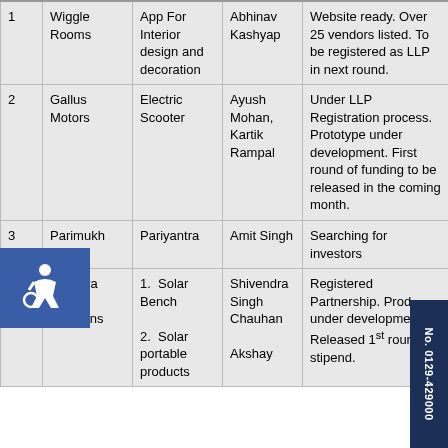| # | Company | Product/Service | Founder(s) | Status |
| --- | --- | --- | --- | --- |
| 1 | Wiggle Rooms | App For Interior design and decoration | Abhinav Kashyap | Website ready. Over 25 vendors listed. To be registered as LLP in next round. |
| 2 | Gallus Motors | Electric Scooter | Ayush Mohan, Kartik Rampal | Under LLP Registration process. Prototype under development. First round of funding to be released in the coming month. |
| 3 | Parimukh | Pariyantra | Amit Singh | Searching for investors |
| 4 | Aarkaya Solar Solutions | 1. Solar Bench
2. Solar portable products | Shivendra Singh Chauhan
Akshay | Registered Partnership. Product under development. Released 1st round stipend. |